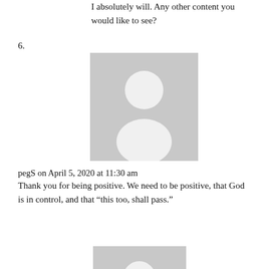I absolutely will. Any other content you would like to see?
6.
[Figure (illustration): Generic user avatar placeholder image (gray background with white person silhouette)]
pegS on April 5, 2020 at 11:30 am
Thank you for being positive. We need to be positive, that God is in control, and that “this too, shall pass.”
[Figure (illustration): Generic user avatar placeholder image (gray background with white person silhouette)]
AccidentalIcon on April 5, 2020 at 11:56 am
It will and how we respond in the aftermath will certainly show our true